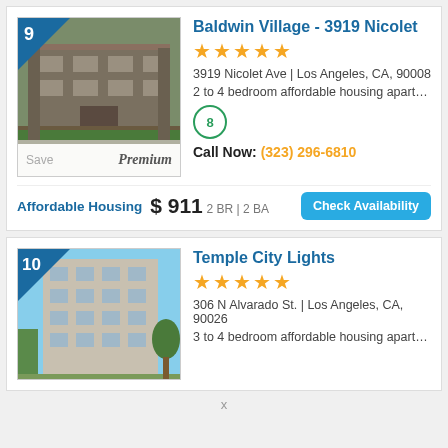[Figure (screenshot): Listing card 9: Baldwin Village - 3919 Nicolet, apartment building photo with blue triangle badge showing number 9]
Baldwin Village - 3919 Nicolet
★★★★★
3919 Nicolet Ave | Los Angeles, CA, 90008
2 to 4 bedroom affordable housing apartments f
8
Call Now: (323) 296-6810
Affordable Housing  $ 911  2 BR | 2 BA
Check Availability
[Figure (screenshot): Listing card 10: Temple City Lights, multi-story apartment building photo with blue triangle badge showing number 10]
Temple City Lights
★★★★★
306 N Alvarado St. | Los Angeles, CA, 90026
3 to 4 bedroom affordable housing apartments...